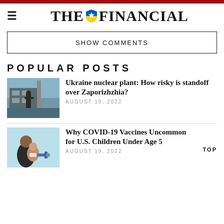THE FINANCIAL
SHOW COMMENTS
POPULAR POSTS
[Figure (photo): Armed soldier standing in front of a building, Zaporizhzhia nuclear plant]
Ukraine nuclear plant: How risky is standoff over Zaporizhzhia?
AUGUST 19, 2022
[Figure (photo): Child receiving a COVID-19 vaccine shot from a healthcare worker]
Why COVID-19 Vaccines Uncommon for U.S. Children Under Age 5
AUGUST 19, 2022